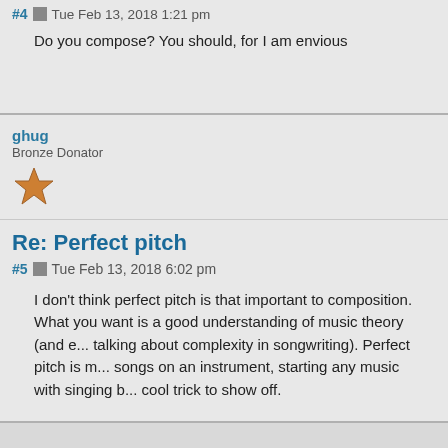#4  Tue Feb 13, 2018 1:21 pm
Do you compose? You should, for I am envious
ghug
Bronze Donator
Re: Perfect pitch
#5  Tue Feb 13, 2018 6:02 pm
I don't think perfect pitch is that important to composition. What you want is a good understanding of music theory (and e... talking about complexity in songwriting). Perfect pitch is m... songs on an instrument, starting any music with singing b... cool trick to show off.